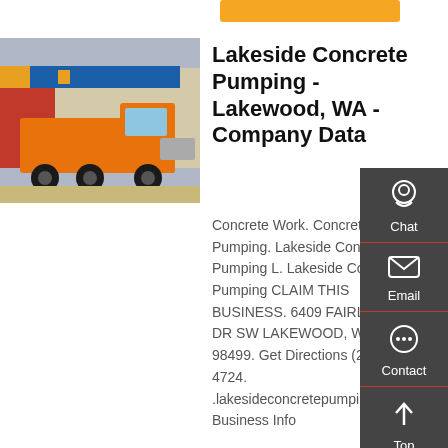[Figure (photo): Photo of an orange semi-truck/heavy vehicle parked at a commercial facility with blue and red signage in the background]
Lakeside Concrete Pumping - Lakewood, WA - Company Data
Concrete Work. Concrete Pumping. Lakeside Concrete Pumping L. Lakeside Concrete Pumping CLAIM THIS BUSINESS. 6409 FAIRLAWN DR SW LAKEWOOD, WA 98499. Get Directions (253) 588-4724. .lakesideconcretepumping.com. Business Info